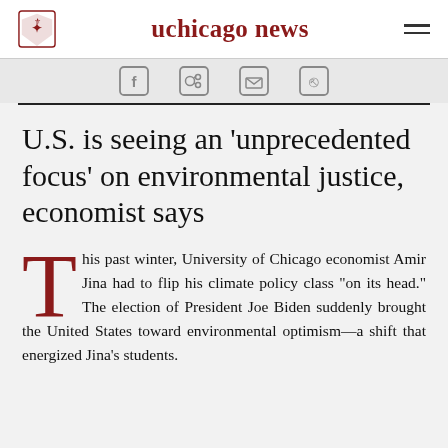uchicago news
[Figure (illustration): Social media share icons (Facebook, LinkedIn, share) in rounded square outlines]
U.S. is seeing an ‘unprecedented focus’ on environmental justice, economist says
This past winter, University of Chicago economist Amir Jina had to flip his climate policy class “on its head.” The election of President Joe Biden suddenly brought the United States toward environmental optimism—a shift that energized Jina’s students.